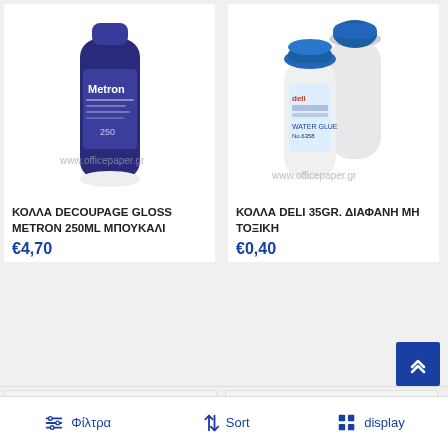[Figure (photo): Purple/dark blue bottle of Metron Decoupage Gloss glue, 250ml, with 'www.officepaper.gr' watermark]
ΚΟΛΛΑ DECOUPAGE GLOSS METRON 250ml ΜΠΟΥΚΑΛΙ
€4,70
[Figure (photo): Two small transparent bottles with blue cap of Deli 35gr water glue, non-toxic, with 'www.officepaper.gr' watermark]
ΚΟΛΛΑ DELI 35gr. ΔΙΑΦΑΝΗ ΜΗ ΤΟΞΙΚΗ
€0,40
[Figure (photo): Partially visible product card with deli brand logo in red]
[Figure (photo): Partially visible product card with deli brand logo in red]
Φίλτρα
Sort
display